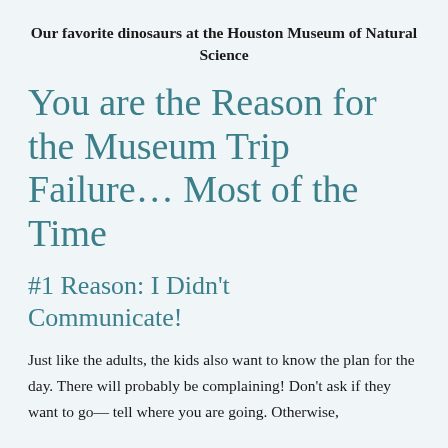Our favorite dinosaurs at the Houston Museum of Natural Science
You are the Reason for the Museum Trip Failure… Most of the Time
#1 Reason: I Didn't Communicate!
Just like the adults, the kids also want to know the plan for the day. There will probably be complaining! Don't ask if they want to go— tell where you are going. Otherwise,